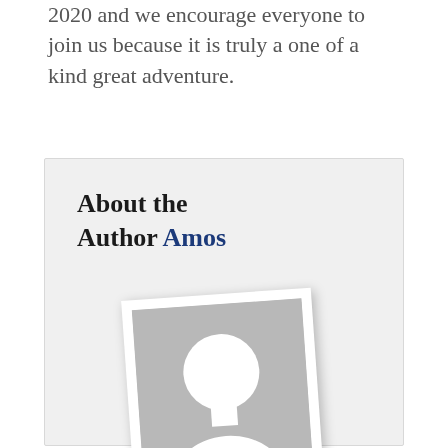2020 and we encourage everyone to join us because it is truly a one of a kind great adventure.
About the Author Amos
[Figure (illustration): Placeholder author photo: a grey rectangle with a white silhouette of a person (head and shoulders), tilted slightly, with a white border like a photo print, set against a light grey card background.]